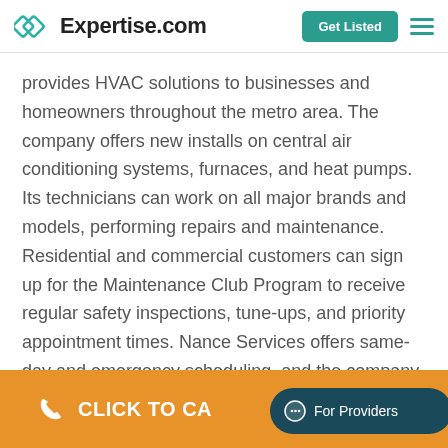Expertise.com | Get Listed
provides HVAC solutions to businesses and homeowners throughout the metro area. The company offers new installs on central air conditioning systems, furnaces, and heat pumps. Its technicians can work on all major brands and models, performing repairs and maintenance. Residential and commercial customers can sign up for the Maintenance Club Program to receive regular safety inspections, tune-ups, and priority appointment times. Nance Services offers same-day and emergency scheduling, and the company also installs attic insulation.
CLICK TO CA... | For Providers